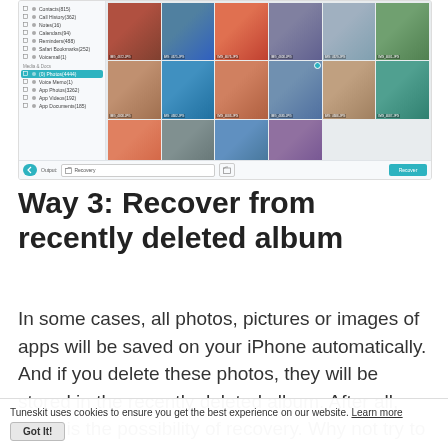[Figure (screenshot): Screenshot of a photo recovery software (TunesKit or similar) showing a left sidebar with categories like Contacts, Call History, Notes, Calendars, Reminders, Safari Bookmarks, Voice Memos, Media & Docs, Photos, Voice Memos, App Photos, App Videos, App Documents — with Photos selected/highlighted in teal. The main area shows a grid of 18 thumbnail photos. At the bottom is an output bar with a back button, output path field showing 'Recovery', a folder icon, and a 'Recover' button in teal.]
Way 3: Recover from recently deleted album
In some cases, all photos, pictures or images of apps will be saved on your iPhone automatically. And if you delete these photos, they will be stored in the recently deleted album. After all, there is the possibility of recovery. Why not try to check the iPhone album? Moreover, checking the
Tuneskit uses cookies to ensure you get the best experience on our website. Learn more
Got It!